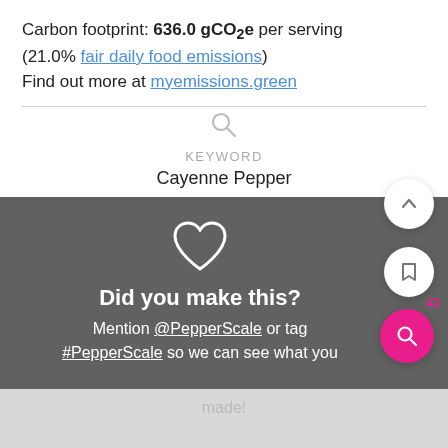Carbon footprint: 636.0 gCO2e per serving (21.0% fair daily food emissions) Find out more at myemissions.green
KEYWORD
Cayenne Pepper
[Figure (infographic): Dark grey card with white heart outline icon, bold white text 'Did you make this?', mention @PepperScale or tag #PepperScale so we can see what you made!. Floating action buttons on right: up chevron, bookmark, pink search button, badge showing 43.]